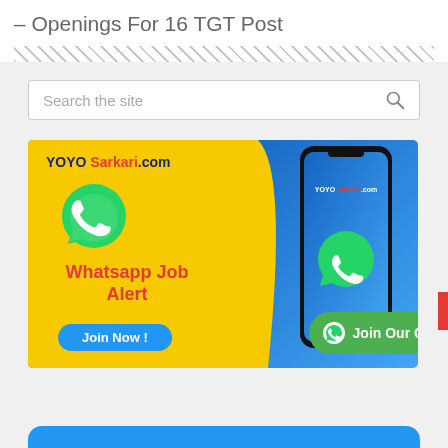– Openings For 16 TGT Post
[Figure (screenshot): Search box with placeholder text 'Search the site' and a magnifying glass icon]
[Figure (infographic): YOYO Sarkari.com Whatsapp Job Alert advertisement banner with yellow and blue background, WhatsApp icon, phone mockup, 'Join Now!' button, and 'Join Our Group' green button]